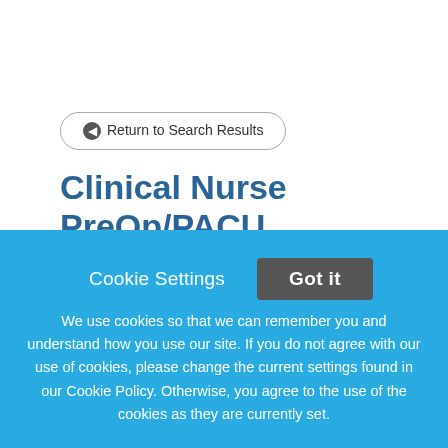Return to Search Results
Clinical Nurse PreOp/PACU
Position SummaryOur Aerodigestive Surgery Center is hiring Perioperative PreOP/PACU nurses!! This positon is
Cookie Settings
Got it
We use cookies so that we can remember you and understand how you use our site. If you do not agree with our use of cookies, please change the current settings found in our Cookie Policy. Otherwise, you agree to the use of the cookies as they are currently set.